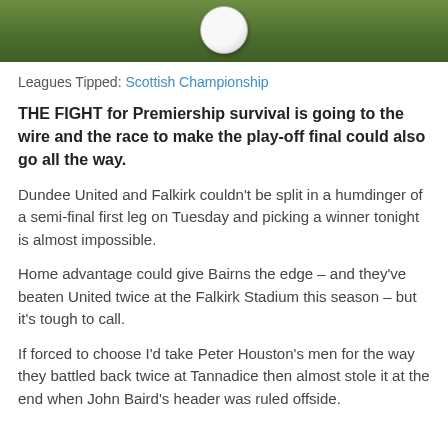[Figure (photo): Top portion of a grass football pitch with a football visible, cropped at the top of the page]
Leagues Tipped: Scottish Championship
THE FIGHT for Premiership survival is going to the wire and the race to make the play-off final could also go all the way.
Dundee United and Falkirk couldn't be split in a humdinger of a semi-final first leg on Tuesday and picking a winner tonight is almost impossible.
Home advantage could give Bairns the edge – and they've beaten United twice at the Falkirk Stadium this season – but it's tough to call.
If forced to choose I'd take Peter Houston's men for the way they battled back twice at Tannadice then almost stole it at the end when John Baird's header was ruled offside.